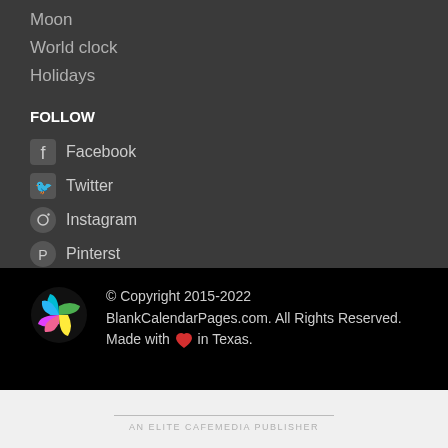Moon
World clock
Holidays
FOLLOW
Facebook
Twitter
Instagram
Pinterst
© Copyright 2015-2022 BlankCalendarPages.com. All Rights Reserved.   Made with ❤ in Texas.
AN ELITE CAFEMEDIA PUBLISHER